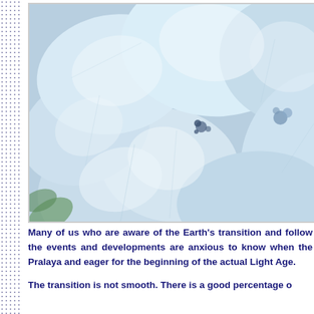[Figure (photo): Close-up photograph of pale blue hydrangea flowers filling the frame. The petals are soft blue and white with gentle shadows and textures visible.]
Many of us who are aware of the Earth's transition and follow the events and developments are anxious to know when the Pralaya will end, and eager for the beginning of the actual Light Age.
The transition is not smooth. There is a good percentage o